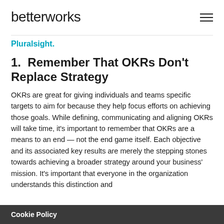betterworks
Pluralsight.
1.  Remember That OKRs Don't Replace Strategy
OKRs are great for giving individuals and teams specific targets to aim for because they help focus efforts on achieving those goals. While defining, communicating and aligning OKRs will take time, it's important to remember that OKRs are a means to an end — not the end game itself. Each objective and its associated key results are merely the stepping stones towards achieving a broader strategy around your business' mission. It's important that everyone in the organization understands this distinction and
Cookie Policy